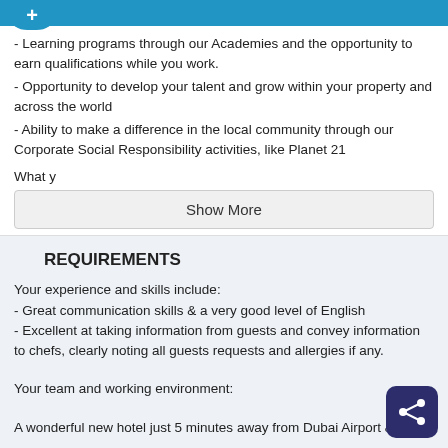- Learning programs through our Academies and the opportunity to earn qualifications while you work.
- Opportunity to develop your talent and grow within your property and across the world
- Ability to make a difference in the local community through our Corporate Social Responsibility activities, like Planet 21
What y
Show More
REQUIREMENTS
Your experience and skills include:
- Great communication skills & a very good level of English
- Excellent at taking information from guests and convey information to chefs, clearly noting all guests requests and allergies if any.
Your team and working environment:
A wonderful new hotel just 5 minutes away from Dubai Airport &